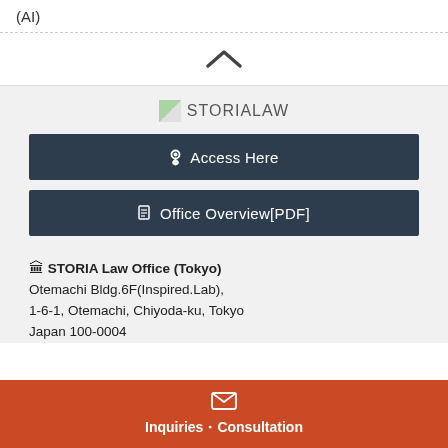(AI)
[Figure (other): Upward chevron/caret icon indicating collapse]
[Figure (logo): STORIALAW logo with green leaf/image icon]
Access Here
Office Overview[PDF]
🏛 STORIA Law Office (Tokyo)
Otemachi Bldg.6F(Inspired.Lab),
1-6-1, Otemachi, Chiyoda-ku, Tokyo
Japan 100-0004
Inquiries・Consultation